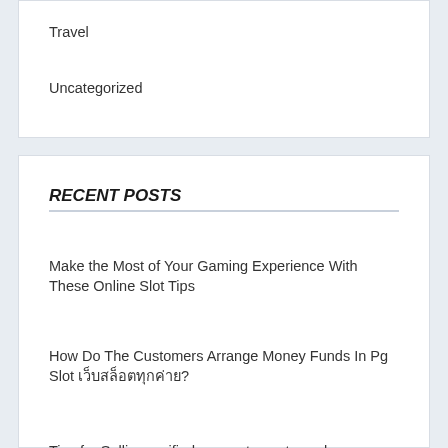Travel
Uncategorized
RECENT POSTS
Make the Most of Your Gaming Experience With These Online Slot Tips
How Do The Customers Arrange Money Funds In Pg Slot เว็บสล็อตทุกค่าย?
Tips for Selling verified account: crypto exchange
The Importance Of Security Guards: Why You Should Hire ervaren beveiligers van DCS (experienced security guards from DCS)